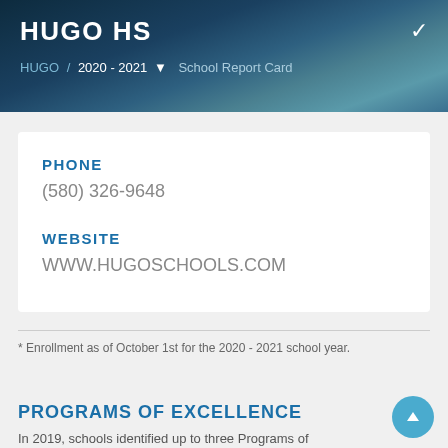HUGO HS
HUGO / 2020 - 2021 ▾  School Report Card
PHONE
(580) 326-9648
WEBSITE
WWW.HUGOSCHOOLS.COM
* Enrollment as of October 1st for the 2020 - 2021 school year.
PROGRAMS OF EXCELLENCE
In 2019, schools identified up to three Programs of